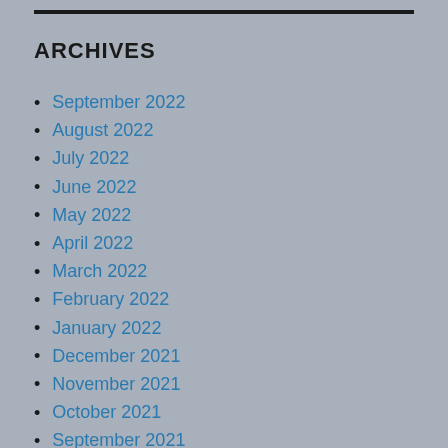ARCHIVES
September 2022
August 2022
July 2022
June 2022
May 2022
April 2022
March 2022
February 2022
January 2022
December 2021
November 2021
October 2021
September 2021